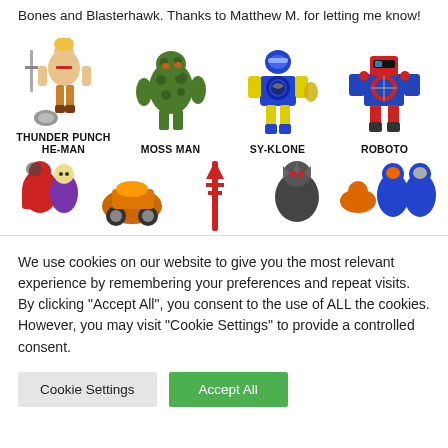Bones and Blasterhawk. Thanks to Matthew M. for letting me know!
[Figure (illustration): Four He-Man action figures arranged in a row: Thunder Punch He-Man (muscular figure with sword and helmet accessories), Moss Man (green ape-like figure), Sy-Klone (blue and yellow figure with snake chest emblem), Roboto (blue and red robot figure). Each figure has its name printed below in bold black uppercase text.]
[Figure (illustration): Partial view of a second row of action figures, showing characters including Skeletor in red, a figure with orange vehicle/weapon, a red staff/weapon, a dark armored figure, and two blue figures. Cropped at the bottom.]
We use cookies on our website to give you the most relevant experience by remembering your preferences and repeat visits. By clicking "Accept All", you consent to the use of ALL the cookies. However, you may visit "Cookie Settings" to provide a controlled consent.